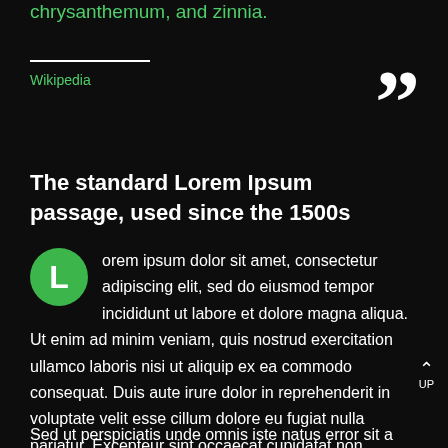chrysanthemum, and zinnia.
Wikipedia
The standard Lorem Ipsum passage, used since the 1500s
Lorem ipsum dolor sit amet, consectetur adipiscing elit, sed do eiusmod tempor incididunt ut labore et dolore magna aliqua. Ut enim ad minim veniam, quis nostrud exercitation ullamco laboris nisi ut aliquip ex ea commodo consequat. Duis aute irure dolor in reprehenderit in voluptate velit esse cillum dolore eu fugiat nulla pariatur. Excepteur sint occaecat cupidatat non proident, sunt in culpa qui officia deserunt mollit anim id est laborum.
Sed ut perspiciatis unde omnis iste natus error sit a